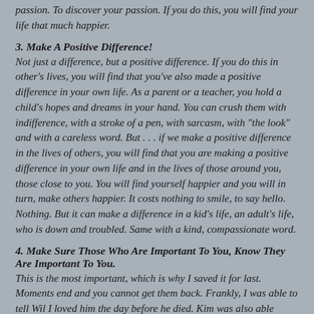passion. To discover your passion. If you do this, you will find your life that much happier.
3. Make A Positive Difference!
Not just a difference, but a positive difference. If you do this in other's lives, you will find that you've also made a positive difference in your own life. As a parent or a teacher, you hold a child's hopes and dreams in your hand. You can crush them with indifference, with a stroke of a pen, with sarcasm, with "the look" and with a careless word. But . . . if we make a positive difference in the lives of others, you will find that you are making a positive difference in your own life and in the lives of those around you, those close to you. You will find yourself happier and you will in turn, make others happier. It costs nothing to smile, to say hello. Nothing. But it can make a difference in a kid's life, an adult's life, who is down and troubled. Same with a kind, compassionate word.
4. Make Sure Those Who Are Important To You, Know They Are Important To You.
This is the most important, which is why I saved it for last. Moments end and you cannot get them back. Frankly, I was able to tell Wil I loved him the day before he died. Kim was also able